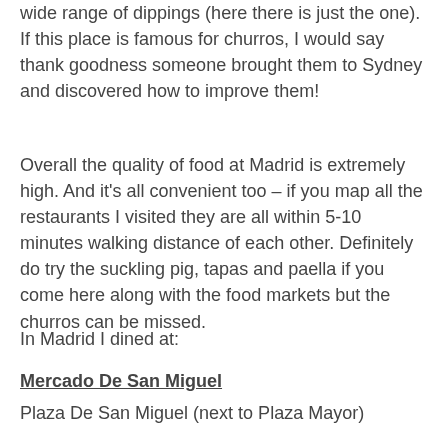wide range of dippings (here there is just the one). If this place is famous for churros, I would say thank goodness someone brought them to Sydney and discovered how to improve them!
Overall the quality of food at Madrid is extremely high. And it's all convenient too – if you map all the restaurants I visited they are all within 5-10 minutes walking distance of each other. Definitely do try the suckling pig, tapas and paella if you come here along with the food markets but the churros can be missed.
In Madrid I dined at:
Mercado De San Miguel
Plaza De San Miguel (next to Plaza Mayor)